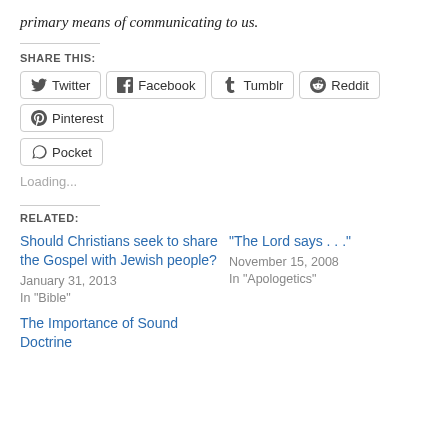primary means of communicating to us.
SHARE THIS:
[Figure (other): Social share buttons: Twitter, Facebook, Tumblr, Reddit, Pinterest, Pocket]
Loading...
RELATED:
Should Christians seek to share the Gospel with Jewish people?
January 31, 2013
In "Bible"
"The Lord says . . ."
November 15, 2008
In "Apologetics"
The Importance of Sound Doctrine